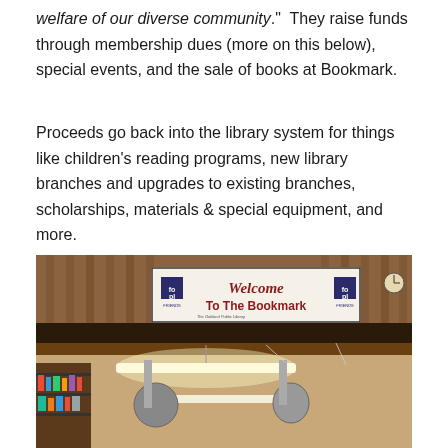welfare of our diverse community." They raise funds through membership dues (more on this below), special events, and the sale of books at Bookmark.
Proceeds go back into the library system for things like children's reading programs, new library branches and upgrades to existing branches, scholarships, materials & special equipment, and more.
[Figure (photo): Interior photo of the Bookmark bookstore showing a banner sign reading 'Welcome To The Bookmark' with FOPL (Friends of the Oakland Public Library) logos, hanging fluorescent lights, wooden shelving, and bookshelves with books.]